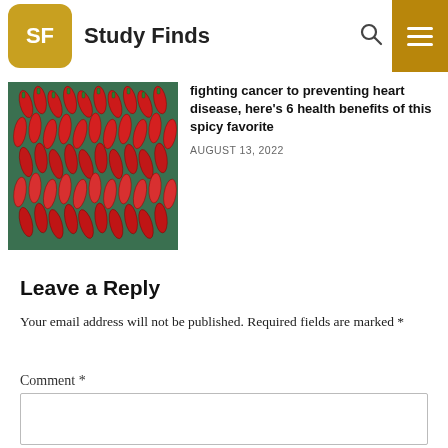Study Finds
[Figure (photo): Photo of red chili peppers hanging in bundles]
fighting cancer to preventing heart disease, here's 6 health benefits of this spicy favorite
AUGUST 13, 2022
Leave a Reply
Your email address will not be published. Required fields are marked *
Comment *